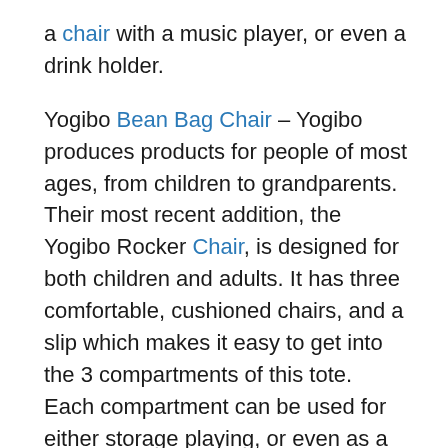a chair with a music player, or even a drink holder.
Yogibo Bean Bag Chair – Yogibo produces products for people of most ages, from children to grandparents. Their most recent addition, the Yogibo Rocker Chair, is designed for both children and adults. It has three comfortable, cushioned chairs, and a slip which makes it easy to get into the 3 compartments of this tote. Each compartment can be used for either storage playing, or even as a footrest. The bean bag is constructed of durable polyester and is washable or dry cleaned. Available in five different colours, this seat is good for both kids and adults.